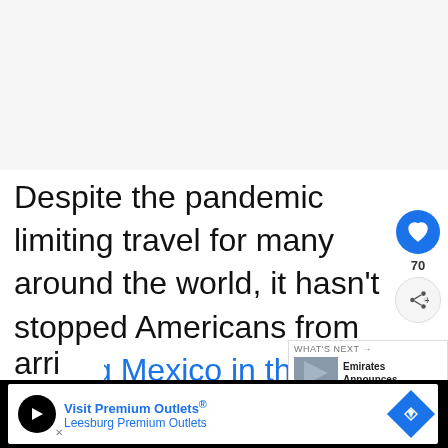Despite the pandemic limiting travel for many around the world, it hasn't stopped Americans from visiting Mexico in their droves. Travel to Mexico is barely restricted at present compared to many countries around the world; there are no testing requirements for those heading to Mexico, nor do travelers have to quarantine upon arrival
[Figure (screenshot): Advertisement bar at bottom: Visit Premium Outlets - Leesburg Premium Outlets]